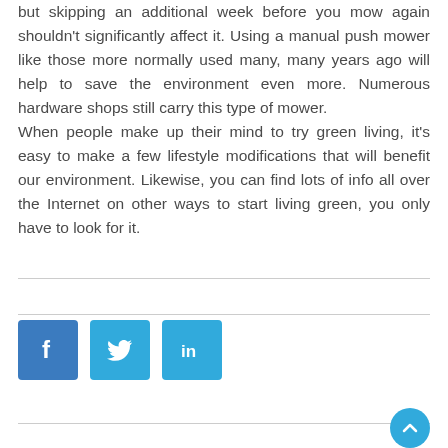but skipping an additional week before you mow again shouldn't significantly affect it. Using a manual push mower like those more normally used many, many years ago will help to save the environment even more. Numerous hardware shops still carry this type of mower.
When people make up their mind to try green living, it's easy to make a few lifestyle modifications that will benefit our environment. Likewise, you can find lots of info all over the Internet on other ways to start living green, you only have to look for it.
[Figure (other): Social media icons: Facebook (blue square with f), Twitter (light blue square with bird), LinkedIn (light blue square with in)]